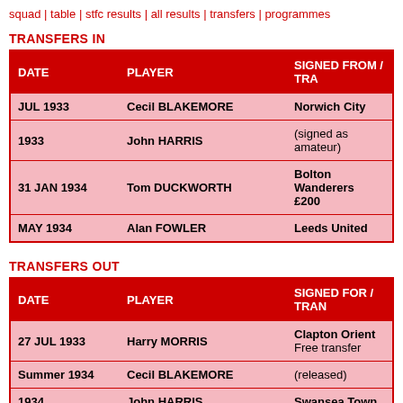squad | table | stfc results | all results | transfers | programmes
TRANSFERS IN
| DATE | PLAYER | SIGNED FROM / TRA... |
| --- | --- | --- |
| JUL 1933 | Cecil BLAKEMORE | Norwich City |
| 1933 | John HARRIS | (signed as amateur) |
| 31 JAN 1934 | Tom DUCKWORTH | Bolton Wanderers £200 |
| MAY 1934 | Alan FOWLER | Leeds United |
TRANSFERS OUT
| DATE | PLAYER | SIGNED FOR / TRAN... |
| --- | --- | --- |
| 27 JUL 1933 | Harry MORRIS | Clapton Orient Free transfer |
| Summer 1934 | Cecil BLAKEMORE | (released) |
| 1934 | John HARRIS | Swansea Town |